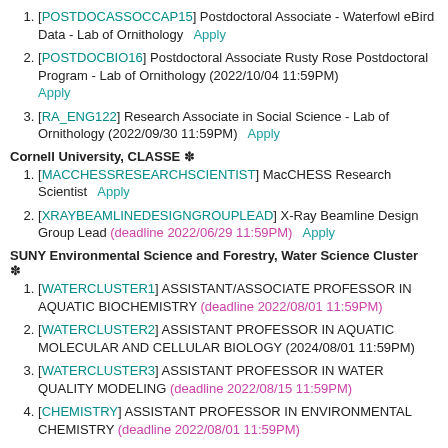[POSTDOCASSOCCAP15] Postdoctoral Associate - Waterfowl eBird Data - Lab of Ornithology Apply
[POSTDOCBIO16] Postdoctoral Associate Rusty Rose Postdoctoral Program - Lab of Ornithology (2022/10/04 11:59PM) Apply
[RA_ENG122] Research Associate in Social Science - Lab of Ornithology (2022/09/30 11:59PM) Apply
Cornell University, CLASSE *
[MACCHESSRESEARCHSCIENTIST] MacCHESS Research Scientist Apply
[XRAYBEAMLINEDESIGNGROUPLEAD] X-Ray Beamline Design Group Lead (deadline 2022/06/29 11:59PM) Apply
SUNY Environmental Science and Forestry, Water Science Cluster *
[WATERCLUSTER1] ASSISTANT/ASSOCIATE PROFESSOR IN AQUATIC BIOCHEMISTRY (deadline 2022/08/01 11:59PM)
[WATERCLUSTER2] ASSISTANT PROFESSOR IN AQUATIC MOLECULAR AND CELLULAR BIOLOGY (2024/08/01 11:59PM)
[WATERCLUSTER3] ASSISTANT PROFESSOR IN WATER QUALITY MODELING (deadline 2022/08/15 11:59PM)
[CHEMISTRY] ASSISTANT PROFESSOR IN ENVIRONMENTAL CHEMISTRY (deadline 2022/08/01 11:59PM)